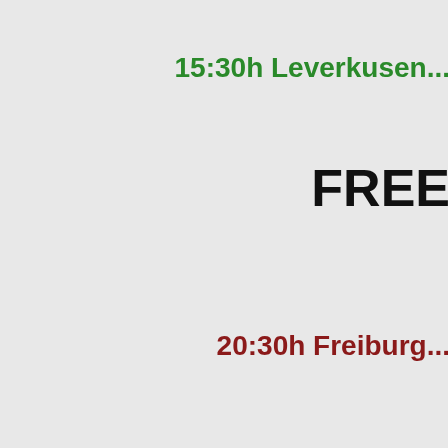19:00h Dy...
15:30h Leverkusen...
FREE
20:30h Freiburg...
FREE
20:00h Portimone...
FREE
19:00h Brond...
FREE